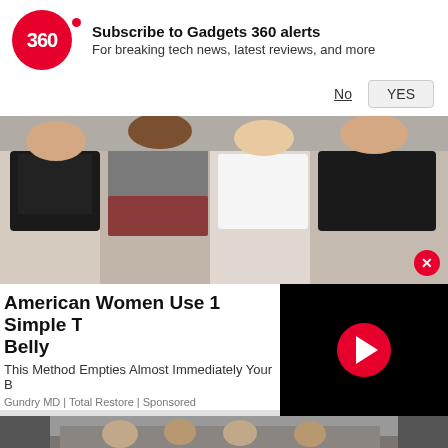[Figure (logo): Gadgets 360 circular red logo with '360' text]
Subscribe to Gadgets 360 alerts
For breaking tech news, latest reviews, and more
No   YES
[Figure (photo): Four women in athletic/workout clothing posing together, smiling]
American Women Use 1 Simple Trick To Empty Their Belly
This Method Empties Almost Immediately Your Body
Gundry MD | Total Restore | Sponsored
[Figure (screenshot): Black video player with red play button circle]
[Figure (photo): Bottom strip showing women in a gym or fitness environment]